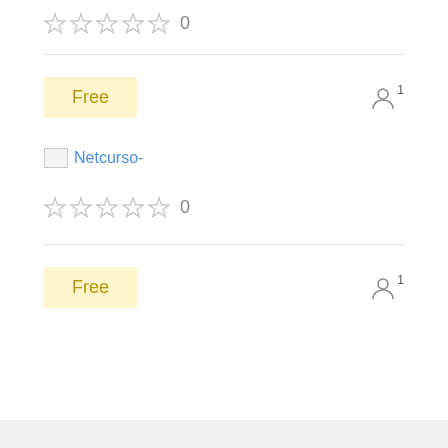[Figure (other): Five empty star rating icons followed by the number 0]
Free
[Figure (other): User/person icon with superscript 1]
[Figure (other): Netcurso- link with small image icon]
[Figure (other): Five empty star rating icons followed by the number 0]
Free
[Figure (other): User/person icon with superscript 1]